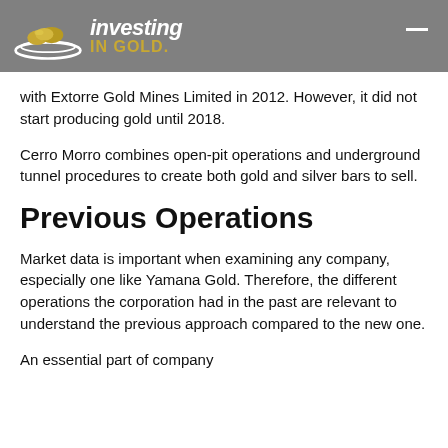investing IN GOLD.
with Extorre Gold Mines Limited in 2012. However, it did not start producing gold until 2018.
Cerro Morro combines open-pit operations and underground tunnel procedures to create both gold and silver bars to sell.
Previous Operations
Market data is important when examining any company, especially one like Yamana Gold. Therefore, the different operations the corporation had in the past are relevant to understand the previous approach compared to the new one.
An essential part of company